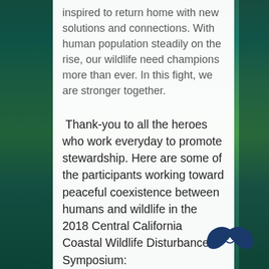inspired to return home with new solutions and connections. With human population steadily on the rise, our wildlife need champions more than ever. In this fight, we are stronger together.
Thank-you to all the heroes who work everyday to promote stewardship. Here are some of the participants working toward peaceful coexistence between humans and wildlife in the 2018 Central California Coastal Wildlife Disturbance Symposium:
[Figure (logo): A stylized whale tail / fluke logo in dark blue, partially visible at the bottom right of the content card.]